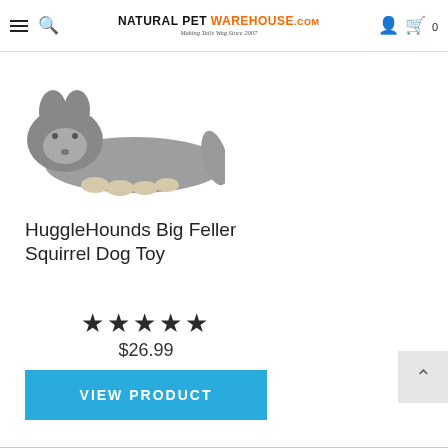Natural Pet Warehouse .com — Making Tails Wag Since 2007
[Figure (photo): A grey plush squirrel dog toy lying on its side, showing a long body with rabbit-ear-like features and cream-colored paws.]
HuggleHounds Big Feller Squirrel Dog Toy
★★★★★
$26.99
VIEW PRODUCT